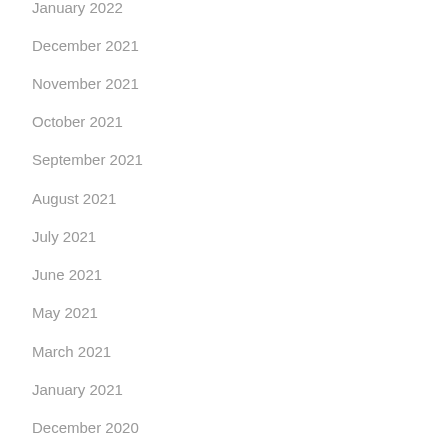January 2022
December 2021
November 2021
October 2021
September 2021
August 2021
July 2021
June 2021
May 2021
March 2021
January 2021
December 2020
November 2020